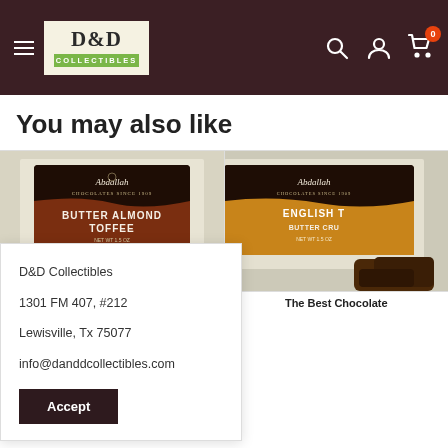D&D Collectibles — navigation header with logo, search, account, and cart icons
You may also like
[Figure (photo): Product photo of Abdallah Butter Almond Toffee chocolate candy package on linen background]
[Figure (photo): Product photo of Abdallah English Toffee Butter Crunch chocolate candy package, partially visible on right side]
D&D Collectibles
1301 FM 407, #212
Lewisville, Tx 75077
info@danddcollectibles.com
Accept
oz The Best Chocolate Ever
The Best Chocolate